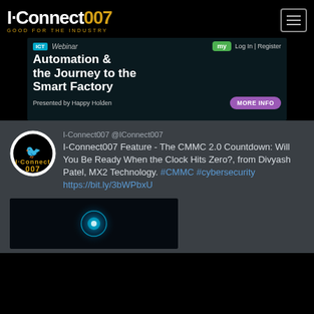I-Connect007 GOOD FOR THE INDUSTRY
[Figure (screenshot): ICT Webinar advertisement banner: Automation & the Journey to the Smart Factory, Presented by Happy Holden. MORE INFO button. my Log In | Register button.]
I-Connect007 @IConnect007
I-Connect007 Feature - The CMMC 2.0 Countdown: Will You Be Ready When the Clock Hits Zero?, from Divyash Patel, MX2 Technology. #CMMC #cybersecurity https://bit.ly/3bWPbxU
[Figure (photo): Dark image with glowing blue/cyan circular graphic, partially visible at bottom of page.]